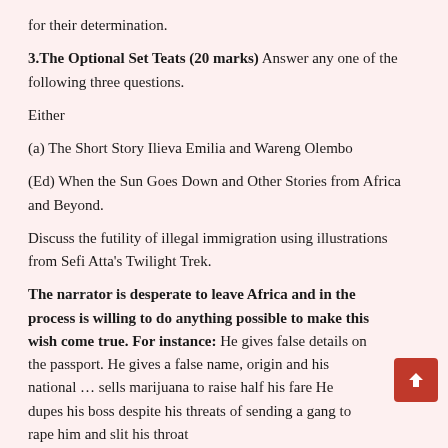for their determination.
3.The Optional Set Teats (20 marks) Answer any one of the following three questions.
Either
(a) The Short Story Ilieva Emilia and Wareng Olembo
(Ed) When the Sun Goes Down and Other Stories from Africa and Beyond.
Discuss the futility of illegal immigration using illustrations from Sefi Atta's Twilight Trek.
The narrator is desperate to leave Africa and in the process is willing to do anything possible to make this wish come true. For instance: He gives false details on the passport. He gives a false name, origin and his national … sells marijuana to raise half his fare He dupes his boss despite his threats of sending a gang to rape him and slit his throat